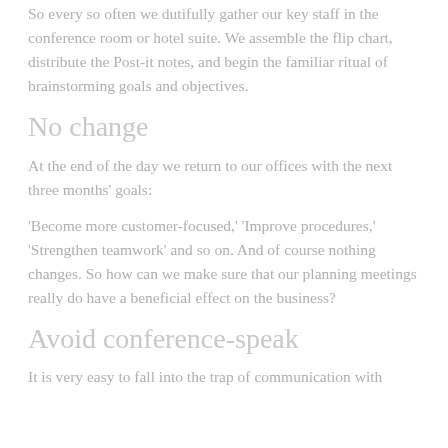So every so often we dutifully gather our key staff in the conference room or hotel suite. We assemble the flip chart, distribute the Post-it notes, and begin the familiar ritual of brainstorming goals and objectives.
No change
At the end of the day we return to our offices with the next three months' goals:
'Become more customer-focused,' 'Improve procedures,' 'Strengthen teamwork' and so on. And of course nothing changes. So how can we make sure that our planning meetings really do have a beneficial effect on the business?
Avoid conference-speak
It is very easy to fall into the trap of communication with